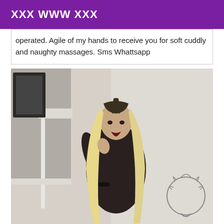XXX WWW XXX
operated. Agile of my hands to receive you for soft cuddly and naughty massages. Sms Whattsapp
[Figure (photo): Young woman with long blonde hair wearing a black lace outfit, posing indoors near a white fireplace mantel with a decorative sun/moon wall art on the right side.]